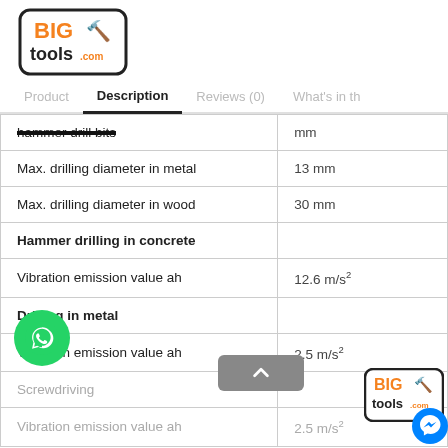[Figure (logo): BigTools.com logo with orange text and hammer icons]
Product   Description   Reviews (0)   What's in th
| Property | Value |
| --- | --- |
| hammer drill bits | mm |
| Max. drilling diameter in metal | 13 mm |
| Max. drilling diameter in wood | 30 mm |
| Hammer drilling in concrete |  |
| Vibration emission value ah | 12.6 m/s² |
| Drilling in metal |  |
| Vibration emission value ah | 2.5 m/s² |
| Screwdriving |  |
| Vibration emission value ah | 2.5 m/s² |